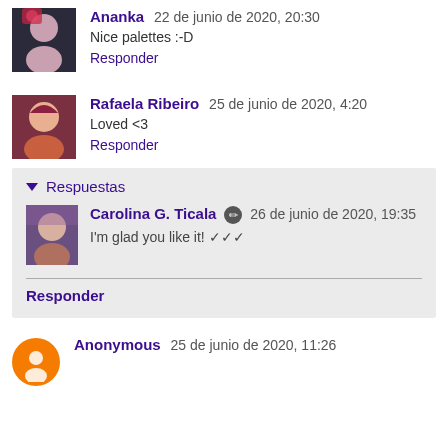Ananka  22 de junio de 2020, 20:30
Nice palettes :-D
Responder
Rafaela Ribeiro  25 de junio de 2020, 4:20
Loved <3
Responder
Respuestas
Carolina G. Ticala  26 de junio de 2020, 19:35
I'm glad you like it! ✓✓✓
Responder
Anonymous  25 de junio de 2020, 11:26